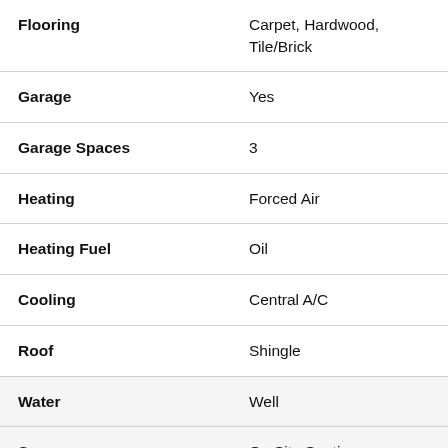| Property | Value |
| --- | --- |
| Flooring | Carpet, Hardwood, Tile/Brick |
| Garage | Yes |
| Garage Spaces | 3 |
| Heating | Forced Air |
| Heating Fuel | Oil |
| Cooling | Central A/C |
| Roof | Shingle |
| Water | Well |
| Sewer | On Site Septic |
| Room Level | Den: Main, Foyer: Main, Dining Room: Main, Primary Bedroom: |